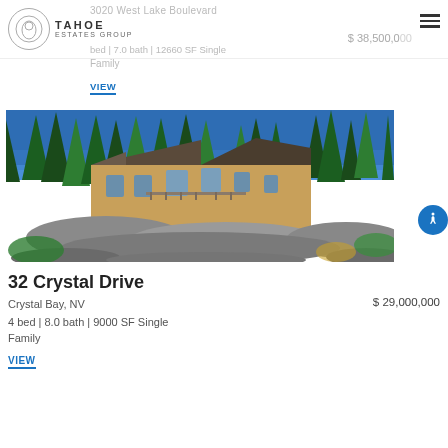3020 West Lake Boulevard
$ 38,500,000
bed | 7.0 bath | 12660 SF Single Family
VIEW
[Figure (photo): Large luxury estate home on a rocky hillside surrounded by tall pine trees with a blue sky background, located in the Lake Tahoe area.]
32 Crystal Drive
Crystal Bay, NV
$ 29,000,000
4 bed | 8.0 bath | 9000 SF Single Family
VIEW